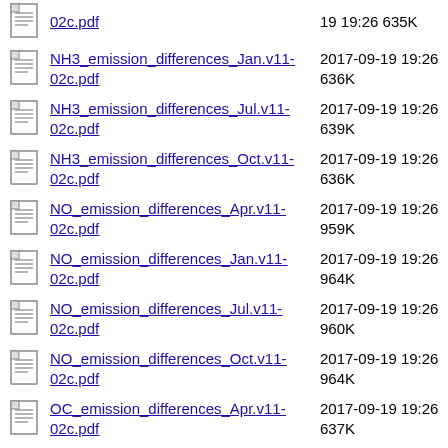NH3_emission_differences_Jan.v11-02c.pdf  2017-09-19 19:26  636K
NH3_emission_differences_Jul.v11-02c.pdf  2017-09-19 19:26  639K
NH3_emission_differences_Oct.v11-02c.pdf  2017-09-19 19:26  636K
NO_emission_differences_Apr.v11-02c.pdf  2017-09-19 19:26  959K
NO_emission_differences_Jan.v11-02c.pdf  2017-09-19 19:26  964K
NO_emission_differences_Jul.v11-02c.pdf  2017-09-19 19:26  960K
NO_emission_differences_Oct.v11-02c.pdf  2017-09-19 19:26  964K
OC_emission_differences_Apr.v11-02c.pdf  2017-09-19 19:26  637K
OC_emission_differences_Jan.v11-02c.pdf  2017-09-19 19:26  637K
OC_emission_differences_Jul.v11-02c.pdf  2017-09-19 19:26  637K
OC_emission_differences_Oct.v11-02c.pdf  2017-09-19 19:26  637K